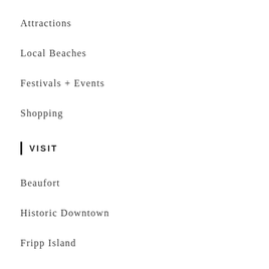Attractions
Local Beaches
Festivals + Events
Shopping
VISIT
Beaufort
Historic Downtown
Fripp Island